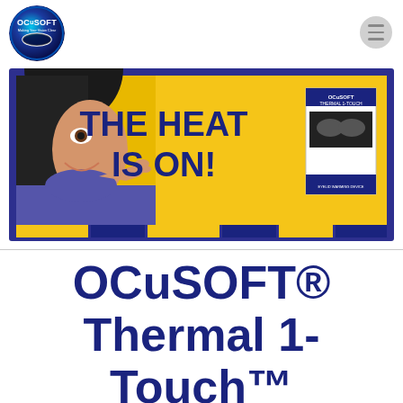[Figure (logo): OCuSOFT circular logo with blue gradient and eye imagery, tagline Making Your Vision Clear]
[Figure (photo): Promotional banner with yellow background showing a smiling woman pointing right, bold navy text THE HEAT IS ON!, and OCuSOFT Thermal 1-Touch product box on right]
OCuSOFT® Thermal 1-Touch™